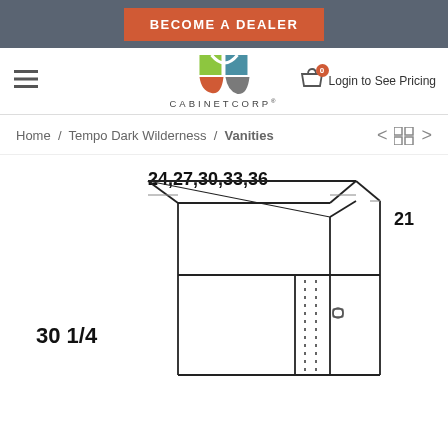BECOME A DEALER
[Figure (logo): CabinetCorp logo with colorful geometric squares and curved shapes, text CABINETCORP below]
Login to See Pricing
Home / Tempo Dark Wilderness / Vanities
[Figure (engineering-diagram): Cabinet vanity engineering line drawing showing dimensions: width 24,27,30,33,36 inches, depth 21 inches, height 30 1/4 inches. Shows cabinet with open top, door with hinge hardware, and dotted adjustment shelf lines.]